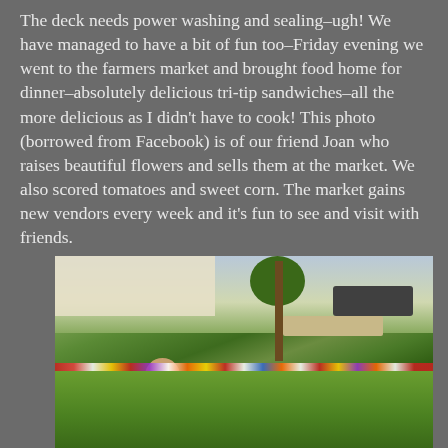The deck needs power washing and sealing–ugh! We have managed to have a bit of fun too–Friday evening we went to the farmers market and brought food home for dinner–absolutely delicious tri-tip sandwiches–all the more delicious as I didn't have to cook! This photo (borrowed from Facebook) is of our friend Joan who raises beautiful flowers and sells them at the market. We also scored tomatoes and sweet corn. The market gains new vendors every week and it's fun to see and visit with friends.
[Figure (photo): Outdoor photo at a farmers market showing a woman with flowers, a canopy tent, trees, grass, and vehicles in the background.]